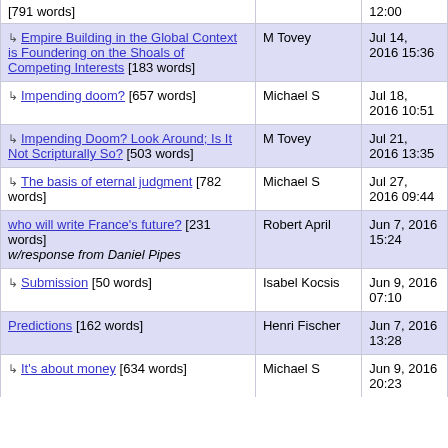| Title | Author | Date |
| --- | --- | --- |
| [791 words] |  | 12:00 |
| ↳ Empire Building in the Global Context is Foundering on the Shoals of Competing Interests [183 words] | M Tovey | Jul 14, 2016 15:36 |
| ↳ Impending doom? [657 words] | Michael S | Jul 18, 2016 10:51 |
| ↳ Impending Doom? Look Around; Is It Not Scripturally So? [503 words] | M Tovey | Jul 21, 2016 13:35 |
| ↳ The basis of eternal judgment [782 words] | Michael S | Jul 27, 2016 09:44 |
| who will write France's future? [231 words] w/response from Daniel Pipes | Robert April | Jun 7, 2016 15:24 |
| ↳ Submission [50 words] | Isabel Kocsis | Jun 9, 2016 07:10 |
| Predictions [162 words] | Henri Fischer | Jun 7, 2016 13:28 |
| ↳ It's about money [634 words] | Michael S | Jun 9, 2016 20:23 |